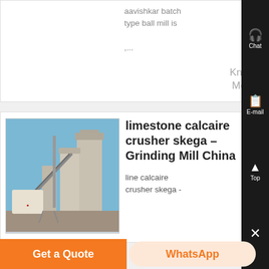aavishkar batch type ball mill is ,...
Know More
limestone calcaire crusher skega – Grinding Mill China
[Figure (photo): Industrial plant with silos and conveyor equipment for limestone/calcaire crusher skega]
line calcaire crusher skega -